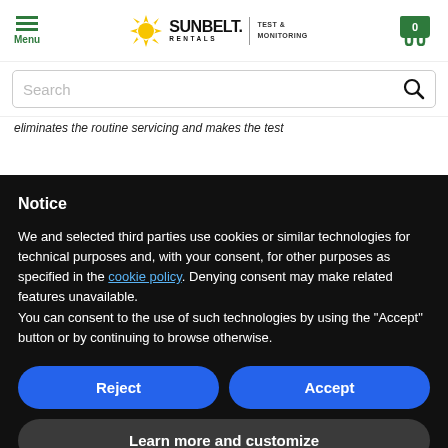[Figure (logo): Sunbelt Rentals Test & Monitoring logo with hamburger menu icon on left and shopping cart on right]
[Figure (screenshot): Search bar with magnifying glass icon]
eliminates the routine servicing and makes the test
Notice
We and selected third parties use cookies or similar technologies for technical purposes and, with your consent, for other purposes as specified in the cookie policy. Denying consent may make related features unavailable.
You can consent to the use of such technologies by using the "Accept" button or by continuing to browse otherwise.
Reject
Accept
Learn more and customize